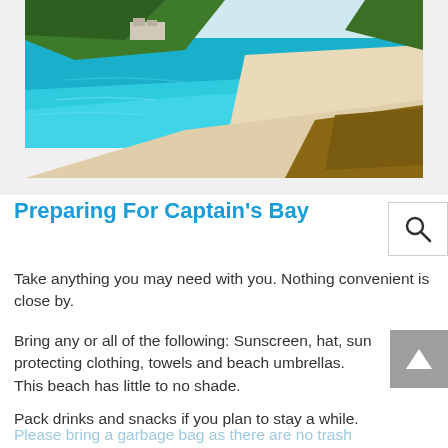[Figure (photo): Aerial view of Captain's Bay beach with turquoise water, white sandy beach, rocky outcrops, and lush green vegetation on a peninsula. A building is visible at the tip of the peninsula.]
Preparing For Captain's Bay
Take anything you may need with you. Nothing convenient is close by.
Bring any or all of the following: Sunscreen, hat, sun protecting clothing, towels and beach umbrellas. This beach has little to no shade.
Pack drinks and snacks if you plan to stay a while.
Please bring a garbage bag as there are no trash receptacles at Captain's Bay. Leave only footprints.